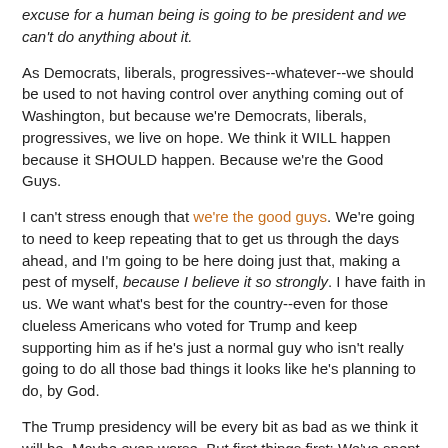When we can't sleep because we know that unbelievable excuse for a human being is going to be president and we can't do anything about it.
As Democrats, liberals, progressives--whatever--we should be used to not having control over anything coming out of Washington, but because we're Democrats, liberals, progressives, we live on hope. We think it WILL happen because it SHOULD happen. Because we're the Good Guys.
I can't stress enough that we're the good guys. We're going to need to keep repeating that to get us through the days ahead, and I'm going to be here doing just that, making a pest of myself, because I believe it so strongly. I have faith in us. We want what's best for the country--even for those clueless Americans who voted for Trump and keep supporting him as if he's just a normal guy who isn't really going to do all those bad things it looks like he's planning to do, by God.
The Trump presidency will be every bit as bad as we think it will be. Maybe even worse. But first things first: We've spent the last 18 months trying like hell to counter the attacks...